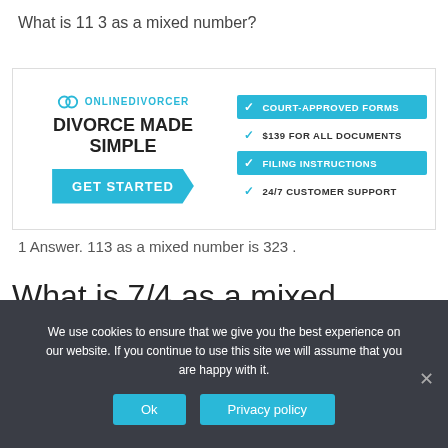What is 11 3 as a mixed number?
[Figure (infographic): Online Divorcer advertisement banner with logo, 'DIVORCE MADE SIMPLE' headline, GET STARTED button, and feature checklist: COURT-APPROVED FORMS, $139 FOR ALL DOCUMENTS, FILING INSTRUCTIONS, 24/7 CUSTOMER SUPPORT]
1 Answer. 113 as a mixed number is 323 .
What is 7/4 as a mixed number?
We use cookies to ensure that we give you the best experience on our website. If you continue to use this site we will assume that you are happy with it.